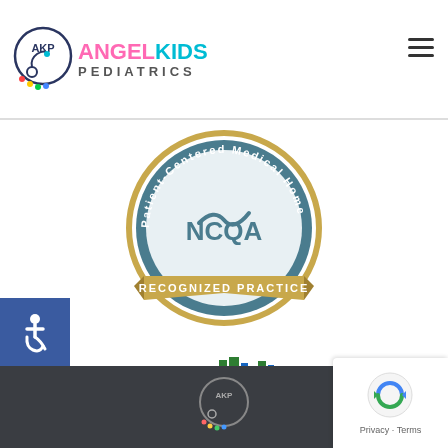[Figure (logo): Angel Kids Pediatrics logo with stethoscope icon, pink ANGEL KIDS text, teal KIDS text, and PEDIATRICS in gray]
[Figure (logo): NCQA Patient-Centered Medical Home Recognized Practice badge - circular gold and teal seal with ribbon]
[Figure (logo): JAX Chamber - Connect. Grow. Prosper. Member badge with city skyline graphic]
[Figure (logo): Wheelchair accessibility icon - white symbol on blue background]
[Figure (logo): Angel Kids Pediatrics logo partial at bottom footer]
[Figure (logo): Google reCAPTCHA badge - Privacy and Terms]